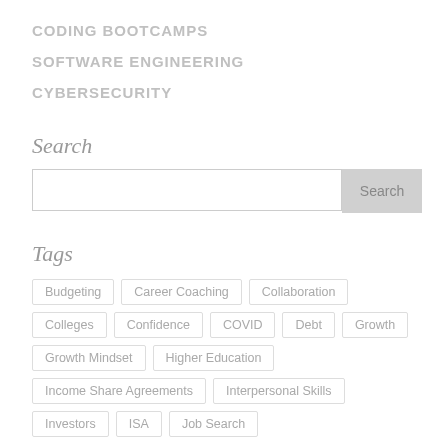CODING BOOTCAMPS
SOFTWARE ENGINEERING
CYBERSECURITY
Search
Tags
Budgeting
Career Coaching
Collaboration
Colleges
Confidence
COVID
Debt
Growth
Growth Mindset
Higher Education
Income Share Agreements
Interpersonal Skills
Investors
ISA
Job Search